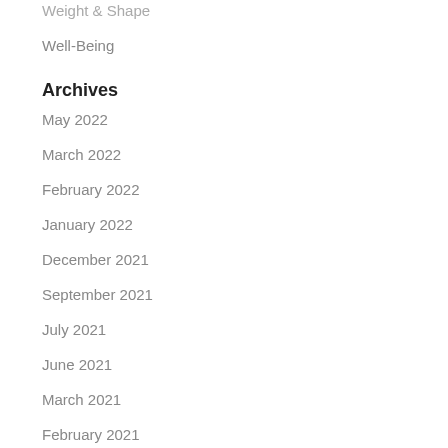Weight & Shape
Well-Being
Archives
May 2022
March 2022
February 2022
January 2022
December 2021
September 2021
July 2021
June 2021
March 2021
February 2021
January 2021